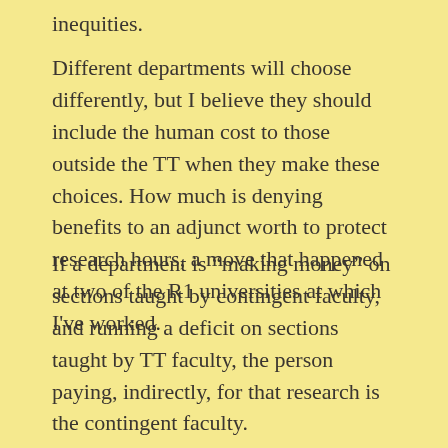inequities.
Different departments will choose differently, but I believe they should include the human cost to those outside the TT when they make these choices. How much is denying benefits to an adjunct worth to protect research hours, a move that happened at two of the R1 universities at which I've worked.
If a department is “making money” on sections taught by contingent faculty, and running a deficit on sections taught by TT faculty, the person paying, indirectly, for that research is the contingent faculty.